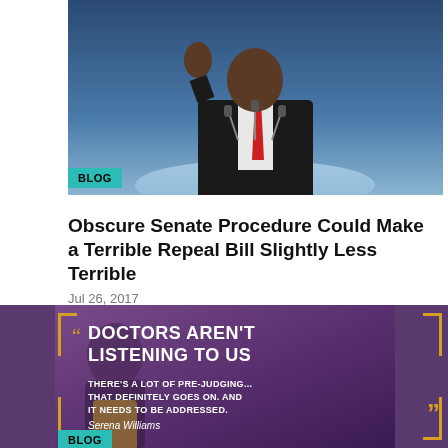[Figure (photo): A man in a dark suit and red tie speaking at a podium with microphones, raising one hand, in front of a blue background]
BLOG
Obscure Senate Procedure Could Make a Terrible Repeal Bill Slightly Less Terrible
Jul 26, 2017
[Figure (photo): Quote card with purple background showing Serena Williams with text: DOCTORS AREN'T LISTENING TO US. THERE'S A LOT OF PRE-JUDGING... THAT DEFINITELY GOES ON. AND IT NEEDS TO BE ADDRESSED. — Serena Williams]
BLOG